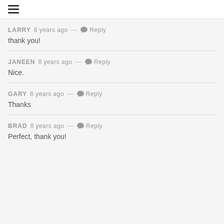≡
LARRY 8 years ago — Reply
thank you!
JANEEN 8 years ago — Reply
Nice.
GARY 8 years ago — Reply
Thanks
BRAD 8 years ago — Reply
Perfect, thank you!